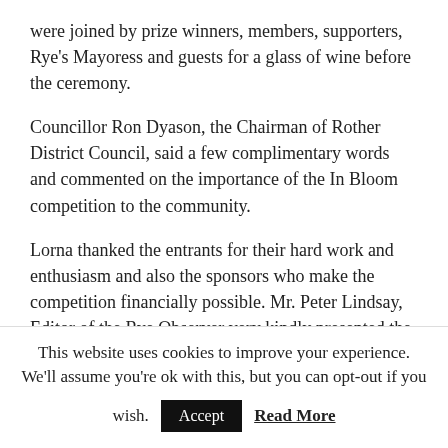were joined by prize winners, members, supporters, Rye's Mayoress and guests for a glass of wine before the ceremony.
Councillor Ron Dyason, the Chairman of Rother District Council, said a few complimentary words and commented on the importance of the In Bloom competition to the community.
Lorna thanked the entrants for their hard work and enthusiasm and also the sponsors who make the competition financially possible. Mr. Peter Lindsay, Editor of the Rye Observer very kindly presented the awards to each winner The winners for 2005 were :-
This website uses cookies to improve your experience. We'll assume you're ok with this, but you can opt-out if you wish.  Accept  Read More